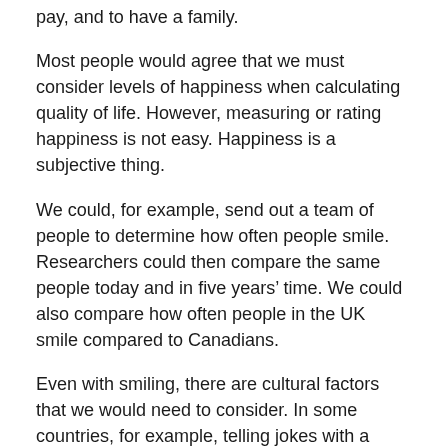pay, and to have a family.
Most people would agree that we must consider levels of happiness when calculating quality of life. However, measuring or rating happiness is not easy. Happiness is a subjective thing.
We could, for example, send out a team of people to determine how often people smile. Researchers could then compare the same people today and in five years' time. We could also compare how often people in the UK smile compared to Canadians.
Even with smiling, there are cultural factors that we would need to consider. In some countries, for example, telling jokes with a serious face makes it funnier. In other cultures, on the other hand, not smiling kills the joke.
Objective vs. subjective
Put simply, quality of life is subjective while standard of